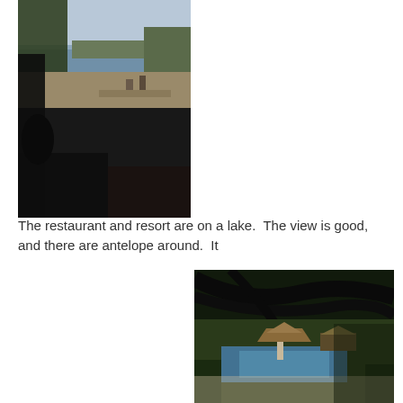[Figure (photo): Outdoor lakeside scene viewed from a shaded restaurant/patio area. The foreground is dark with chairs and tables visible. The middle ground shows a sandy path leading toward a lake. Tall grasses and trees frame the water view. The sky is hazy. A few people are visible near the waterfront.]
The restaurant and resort are on a lake.  The view is good, and there are antelope around.  It
[Figure (photo): Resort pool area viewed through dark overhanging tree branches. A swimming pool and thatched gazebo/palapa structures are visible in the background with green tropical vegetation. A person is visible near the pool.]